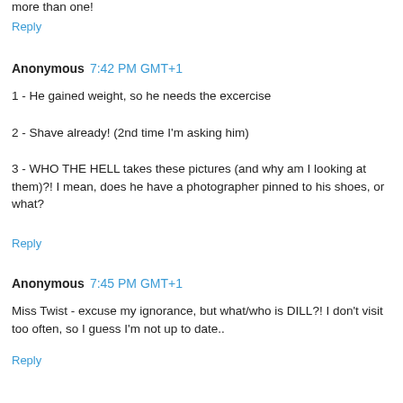more than one!
Reply
Anonymous 7:42 PM GMT+1
1 - He gained weight, so he needs the excercise
2 - Shave already! (2nd time I'm asking him)
3 - WHO THE HELL takes these pictures (and why am I looking at them)?! I mean, does he have a photographer pinned to his shoes, or what?
Reply
Anonymous 7:45 PM GMT+1
Miss Twist - excuse my ignorance, but what/who is DILL?! I don't visit too often, so I guess I'm not up to date..
Reply